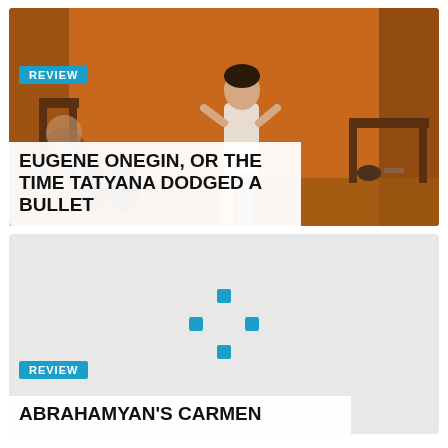[Figure (photo): Theater performance photo with orange/brown background, performer looking upward on stage with furniture and props visible]
REVIEW
EUGENE ONEGIN, OR THE TIME TATYANA DODGED A BULLET
[Figure (other): Gray placeholder image with a teal/cyan loading spinner icon in the center]
REVIEW
ABRAHAMYAN'S CARMEN